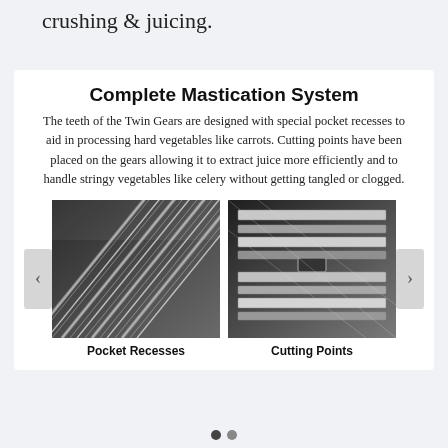crushing & juicing.
Complete Mastication System
The teeth of the Twin Gears are designed with special pocket recesses to aid in processing hard vegetables like carrots. Cutting points have been placed on the gears allowing it to extract juice more efficiently and to handle stringy vegetables like celery without getting tangled or clogged.
[Figure (photo): Close-up photograph of twin gear Pocket Recesses — parallel diagonal metallic ridges and grooves on twin gear surfaces.]
Pocket Recesses
[Figure (photo): Close-up photograph of twin gear Cutting Points — interlocking metallic gear teeth with cutting edge details visible.]
Cutting Points